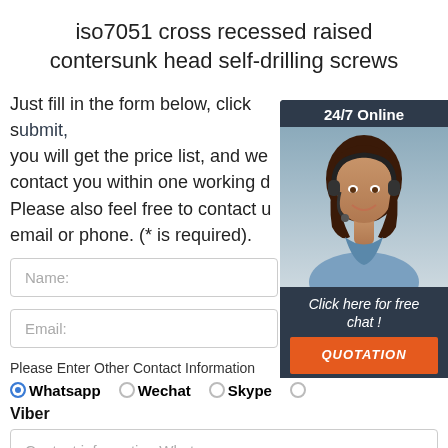iso7051 cross recessed raised contersunk head self-drilling screws
Just fill in the form below, click submit, you will get the price list, and we will contact you within one working day. Please also feel free to contact us via email or phone. (* is required).
[Figure (illustration): Customer service chat widget overlay with '24/7 Online' header, photo of woman with headset, 'Click here for free chat!' text, and orange QUOTATION button]
Name:
Email:
Please Enter Other Contact Information
Whatsapp  Wechat  Skype  Viber
Contact information Whatsapp